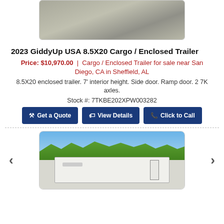[Figure (photo): Partial top photo of a cargo/enclosed trailer, showing a gray surface (roof or road), cropped at top]
2023 GiddyUp USA 8.5X20 Cargo / Enclosed Trailer
Price: $10,970.00 | Cargo / Enclosed Trailer for sale near San Diego, CA in Sheffield, AL
8.5X20 enclosed trailer. 7' interior height. Side door. Ramp door. 2 7K axles.
Stock #: 7TKBE202XPW003282
Get a Quote | View Details | Click to Call
[Figure (photo): Photo of a white enclosed cargo trailer parked outdoors with blue sky and trees in background; navigation arrows on left and right sides]